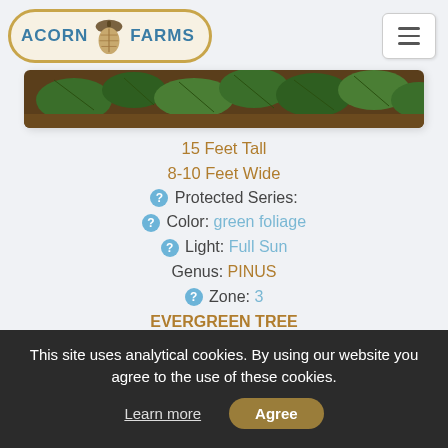ACORN FARMS
[Figure (photo): Close-up photo of pine tree needles and foliage, green conifer plant]
15 Feet Tall
8-10 Feet Wide
Protected Series:
Color: green foliage
Light: Full Sun
Genus: PINUS
Zone: 3
EVERGREEN TREE
#3098
This site uses analytical cookies. By using our website you agree to the use of these cookies.
Learn more
Agree